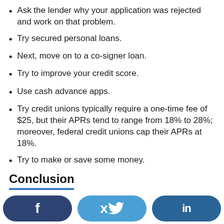Ask the lender why your application was rejected and work on that problem.
Try secured personal loans.
Next, move on to a co-signer loan.
Try to improve your credit score.
Use cash advance apps.
Try credit unions typically require a one-time fee of $25, but their APRs tend to range from 18% to 28%; moreover, federal credit unions cap their APRs at 18%.
Try to make or save some money.
Conclusion
[Figure (infographic): Social media share buttons: Facebook (dark blue), Twitter (light blue), LinkedIn (medium blue)]